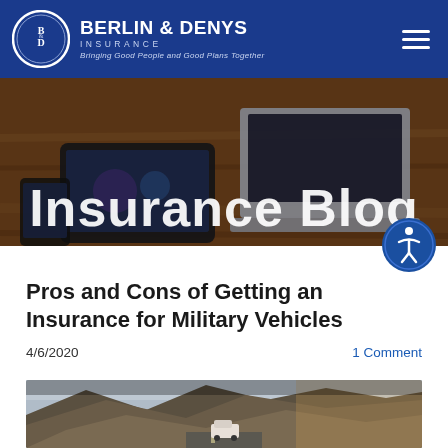[Figure (logo): Berlin & Denys Insurance logo with circular B&D emblem, white text on dark blue background, tagline: Bringing Good People and Good Plans Together]
[Figure (photo): Hero banner showing laptop and tablet/phone on wooden desk, partially cropped, with 'Insurance Blog' text overlay in white]
[Figure (other): Blue circular accessibility button with wheelchair person icon]
Pros and Cons of Getting an Insurance for Military Vehicles
4/6/2020
1 Comment
[Figure (photo): Mountain landscape with a military vehicle on a road under dramatic cloudy sky]